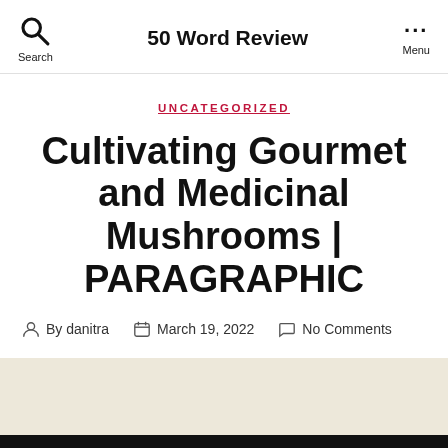50 Word Review
UNCATEGORIZED
Cultivating Gourmet and Medicinal Mushrooms | PARAGRAPHIC
By danitra   March 19, 2022   No Comments